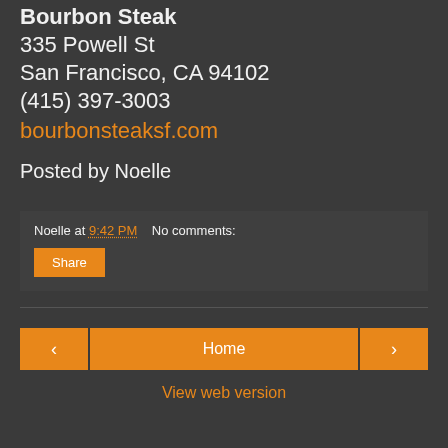Bourbon Steak
335 Powell St
San Francisco, CA 94102
(415) 397-3003
bourbonsteaksf.com
Posted by Noelle
Noelle at 9:42 PM    No comments:
Share
Home
View web version